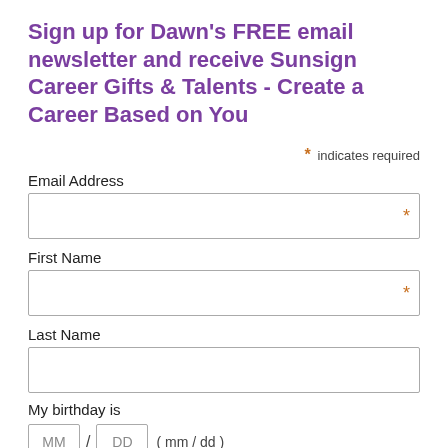Sign up for Dawn's FREE email newsletter and receive Sunsign Career Gifts & Talents - Create a Career Based on You
* indicates required
Email Address *
First Name *
Last Name
My birthday is
MM / DD ( mm / dd )
Email Format
Html